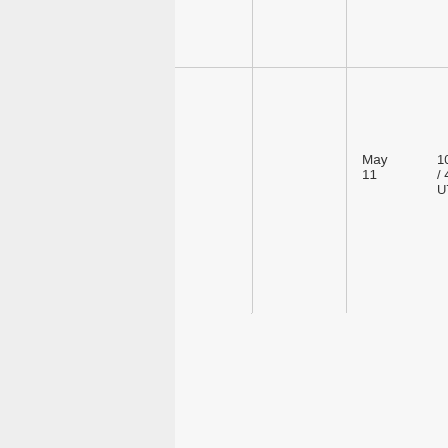| Date | Time | Title | Description |
| --- | --- | --- | --- |
| May 11 | 10am EDT / 4pm UTC+2 | Into the Zanga | Wha... CKS... Wor... |